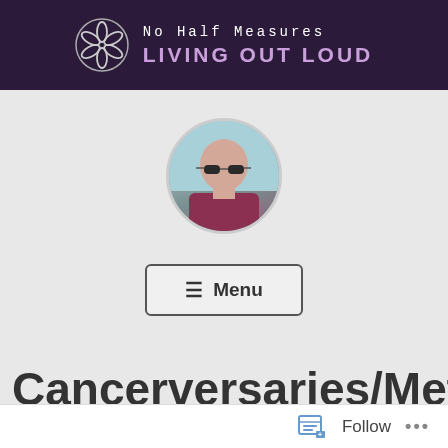[Figure (logo): Website header banner with dark purple background, pinwheel/flower logo icon, text 'No Half Measures' in white monospace font and 'LIVING OUT LOUD' in purple/pink bold letters]
[Figure (photo): Circular profile photo of a bald woman wearing sunglasses and a maroon off-shoulder top, set against an outdoor background]
≡  Menu
Cancerversaries/Metaver
Follow  ...